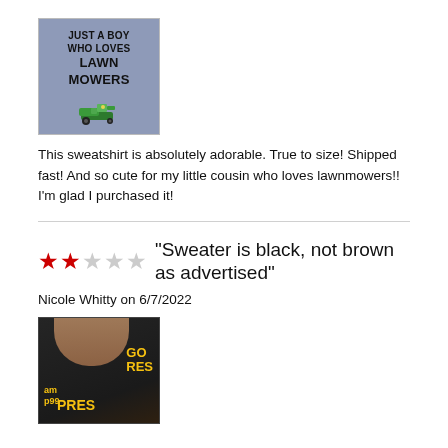[Figure (photo): Photo of a blue/grey sweatshirt with text 'JUST A BOY WHO LOVES LAWN MOWERS' and a lawn mower graphic on it]
This sweatshirt is absolutely adorable. True to size! Shipped fast! And so cute for my little cousin who loves lawnmowers!! I'm glad I purchased it!
[Figure (other): Star rating showing 2 out of 5 red stars followed by review title: Sweater is black, not brown as advertised]
Nicole Whitty on 6/7/2022
[Figure (photo): Photo of a child wearing a black sweatshirt with yellow/gold text, appears to say GO PRES or similar]